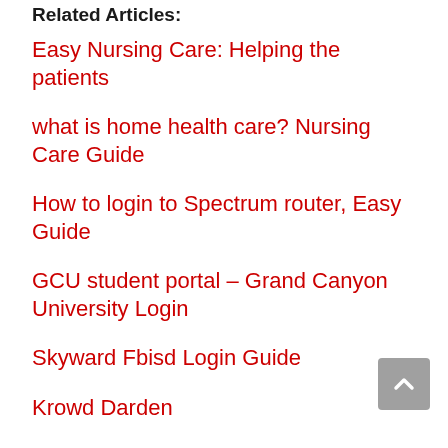Related Articles:
Easy Nursing Care: Helping the patients
what is home health care? Nursing Care Guide
How to login to Spectrum router, Easy Guide
GCU student portal – Grand Canyon University Login
Skyward Fbisd Login Guide
Krowd Darden